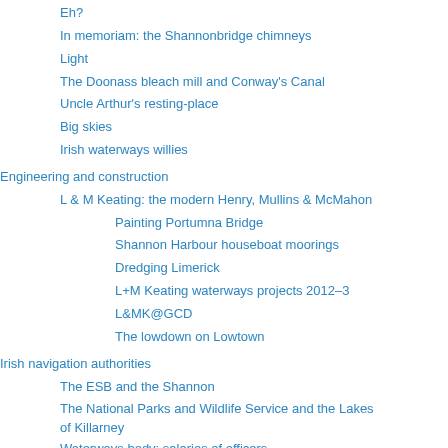Eh?
In memoriam: the Shannonbridge chimneys
Light
The Doonass bleach mill and Conway's Canal
Uncle Arthur's resting-place
Big skies
Irish waterways willies
Engineering and construction
L & M Keating: the modern Henry, Mullins & McMahon
Painting Portumna Bridge
Shannon Harbour houseboat moorings
Dredging Limerick
L+M Keating waterways projects 2012–3
L&MK@GCD
The lowdown on Lowtown
Irish navigation authorities
The ESB and the Shannon
The National Parks and Wildlife Service and the Lakes of Killarney
Waterways body: salaries of officers